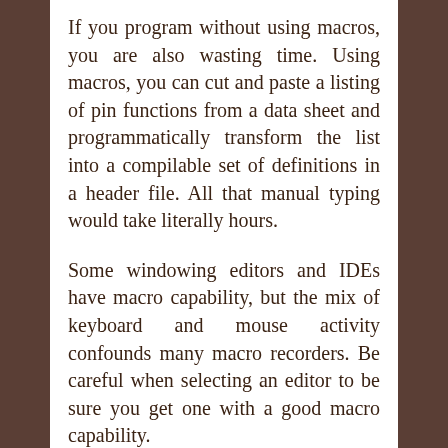If you program without using macros, you are also wasting time. Using macros, you can cut and paste a listing of pin functions from a data sheet and programmatically transform the list into a compilable set of definitions in a header file. All that manual typing would take literally hours.
Some windowing editors and IDEs have macro capability, but the mix of keyboard and mouse activity confounds many macro recorders. Be careful when selecting an editor to be sure you get one with a good macro capability.
You might ask, if the usability of IDEs is so poor, how does one find bugs? Sometimes I do use the IDEs to find bugs by single stepping and examining variable values, but not often. In most cases, the IDE is good for loading and starting a program on the target. Many bugs are obvious after examining source code and the documents, such as state machines,